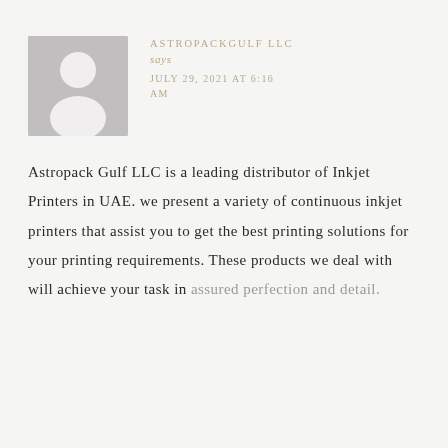[Figure (illustration): Generic user avatar placeholder: grey square with white silhouette of a person (circle head, rounded shoulders)]
ASTROPACKGULF LLC
says
JULY 29, 2021 AT 6:16 AM
Astropack Gulf LLC is a leading distributor of Inkjet Printers in UAE. we present a variety of continuous inkjet printers that assist you to get the best printing solutions for your printing requirements. These products we deal with will achieve your task in assured perfection and detail.